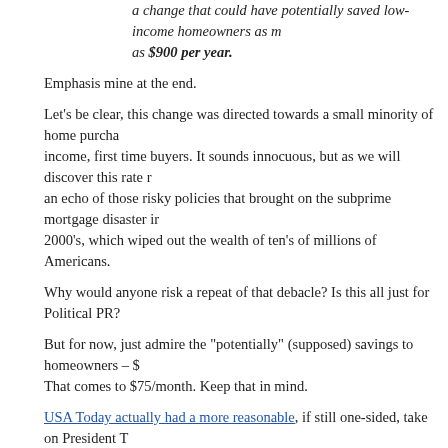a change that could have potentially saved low-income homeowners as much as $900 per year.
Emphasis mine at the end.
Let's be clear, this change was directed towards a small minority of home purchasers – low income, first time buyers. It sounds innocuous, but as we will discover this rate reduction is an echo of those risky policies that brought on the subprime mortgage disaster in the early 2000's, which wiped out the wealth of ten's of millions of Americans.
Why would anyone risk a repeat of that debacle? Is this all just for Political PR?
But for now, just admire the "potentially" (supposed) savings to homeowners – $900/year. That comes to $75/month. Keep that in mind.
USA Today actually had a more reasonable, if still one-sided, take on President Trump's first EO.
In the first hour of Trump's presidency, the U.S. Department of Housing and Urban Development sent a letter to lenders, real estate brokers and closing agents suspending the 0.25 percentage point premium rate cut for Federal Housing Administration-backed loans. The new rates, announced on Jan. … would have gone into effect on Friday.